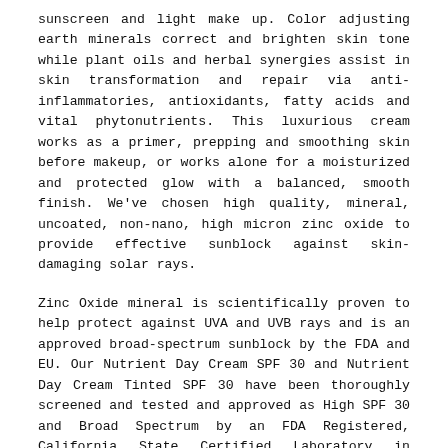sunscreen and light make up. Color adjusting earth minerals correct and brighten skin tone while plant oils and herbal synergies assist in skin transformation and repair via anti-inflammatories, antioxidants, fatty acids and vital phytonutrients. This luxurious cream works as a primer, prepping and smoothing skin before makeup, or works alone for a moisturized and protected glow with a balanced, smooth finish. We've chosen high quality, mineral, uncoated, non-nano, high micron zinc oxide to provide effective sunblock against skin-damaging solar rays.
Zinc Oxide mineral is scientifically proven to help protect against UVA and UVB rays and is an approved broad-spectrum sunblock by the FDA and EU. Our Nutrient Day Cream SPF 30 and Nutrient Day Cream Tinted SPF 30 have been thoroughly screened and tested and approved as High SPF 30 and Broad Spectrum by an FDA Registered, California State Certified Laboratory in accordance with FDA regulation.